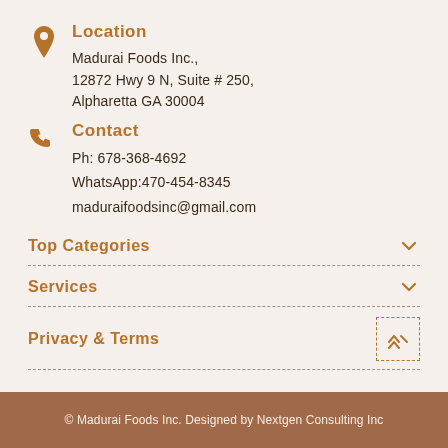Location
Madurai Foods Inc.,
12872 Hwy 9 N, Suite # 250, Alpharetta GA 30004
Contact
Ph: 678-368-4692
WhatsApp:470-454-8345
maduraifoodsinc@gmail.com
Top Categories
Services
Privacy & Terms
© Madurai Foods Inc. Designed by Nextgen Consulting Inc